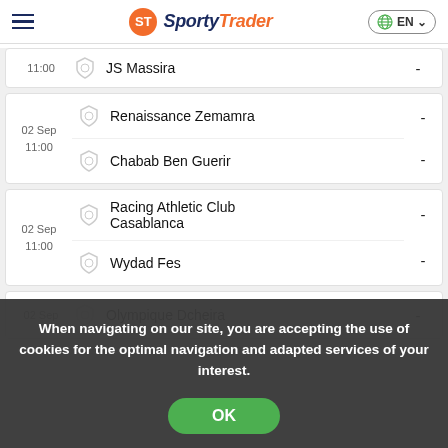SportyTrader EN
11:00  JS Massira  -
02 Sep 11:00  Renaissance Zemamra  -  Chabab Ben Guerir  -
02 Sep 11:00  Racing Athletic Club Casablanca  -  Wydad Fes  -
02 Sep  Olympique Dcheira  -
When navigating on our site, you are accepting the use of cookies for the optimal navigation and adapted services of your interest.